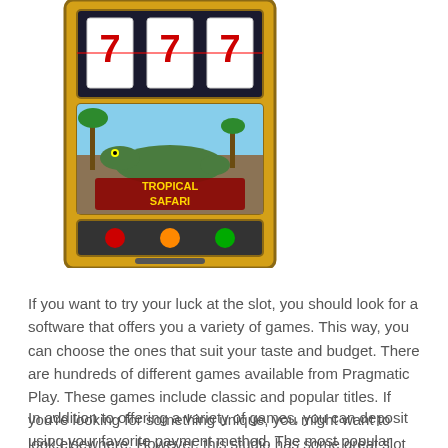[Figure (illustration): A colorful slot machine illustration labeled 'Tropical Safari' with a crocodile graphic and 777 reels, styled in yellow/gold cabinet.]
If you want to try your luck at the slot, you should look for a software that offers you a variety of games. This way, you can choose the ones that suit your taste and budget. There are hundreds of different games available from Pragmatic Play. These games include classic and popular titles. If you're looking for something unique, you might want to look elsewhere. However, this studio has some great slot machines to choose from. Read on to find out more about their different slot games.
In addition to offering a variety of games, you can deposit using your favorite payment method. The most popular